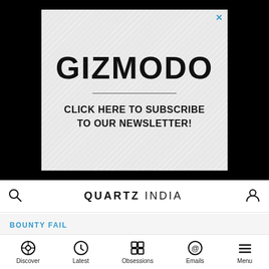[Figure (screenshot): Gizmodo advertisement banner with diagonal stripe pattern background. Shows GIZMODO logo in bold black text, a horizontal divider, and text reading CLICK HERE TO SUBSCRIBE TO OUR NEWSLETTER!. Has a blue X close button in top right.]
QUARTZ INDIA
BOUNTY FAIL
Why a good monsoon won't make food any cheaper in India
Discover | Latest | Obsessions | Emails | Menu